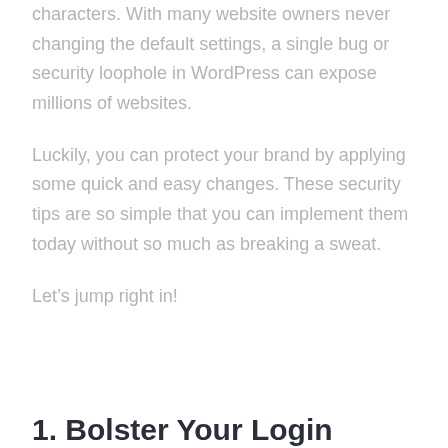characters. With many website owners never changing the default settings, a single bug or security loophole in WordPress can expose millions of websites.
Luckily, you can protect your brand by applying some quick and easy changes. These security tips are so simple that you can implement them today without so much as breaking a sweat.
Let’s jump right in!
1. Bolster Your Login